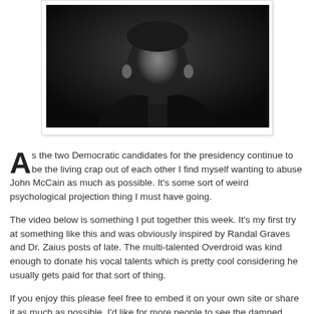[Figure (photo): Black and white portrait photograph of a person, cropped to show upper body/face area, mounted with white border and slight shadow]
As the two Democratic candidates for the presidency continue to be the living crap out of each other I find myself wanting to abuse John McCain as much as possible. It's some sort of weird psychological projection thing I must have going.

The video below is something I put together this week. It's my first try at something like this and was obviously inspired by Randal Graves and Dr. Zaius posts of late. The multi-talented Overdroid was kind enough to donate his vocal talents which is pretty cool considering he usually gets paid for that sort of thing.

If you enjoy this please feel free to embed it on your own site or share it as much as possible. I'd like for more people to see the damned thing. If you don't like it -- well, the world